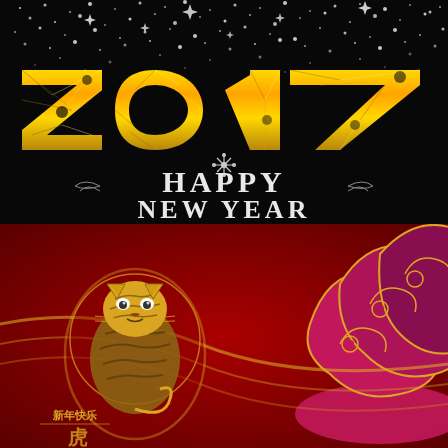[Figure (illustration): Top panel: Black background with silver/white sparkling glitter particles concentrated at the top. Large gold low-poly geometric '2017' numerals in the center. Below the year, decorative snowflake ornament and 'HAPPY NEW YEAR' text in silver/white serif font with ornamental flourishes.]
[Figure (illustration): Bottom panel: Deep red background with a golden Chinese paper-cut style tiger in a circular frame on the left. Right side features large pink/magenta layered decorative clouds with gold outlines. Chinese text '新年快乐' (Happy New Year) appears at the bottom left.]